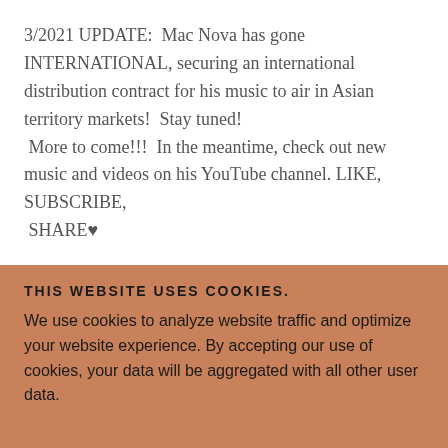3/2021 UPDATE:  Mac Nova has gone INTERNATIONAL, securing an international distribution contract for his music to air in Asian territory markets!  Stay tuned!  More to come!!!  In the meantime, check out new music and videos on his YouTube channel. LIKE, SUBSCRIBE, SHARE♥
2/2021 UPDATE:  Can we say SUCCESS!  The Sony release is going well and is grabbing national attention!  Read the latest review from NEW ROCK STARS, a UK platform that covers major artists worldwide  - Read
THIS WEBSITE USES COOKIES.
We use cookies to analyze website traffic and optimize your website experience. By accepting our use of cookies, your data will be aggregated with all other user data.